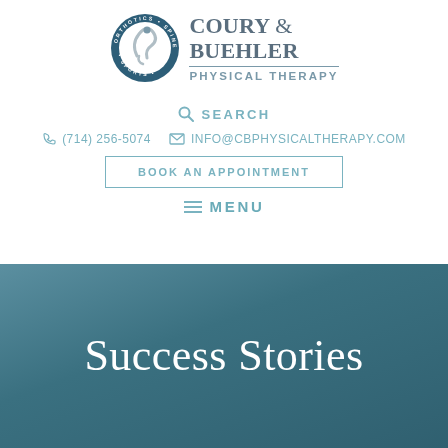[Figure (logo): Coury & Buehler Physical Therapy logo — circular emblem with figure and text 'Orthotics Spine Sports' surrounding it, next to brand name and 'Physical Therapy' tagline]
SEARCH
(714) 256-5074   INFO@CBPHYSICALTHERAPY.COM
BOOK AN APPOINTMENT
MENU
Success Stories